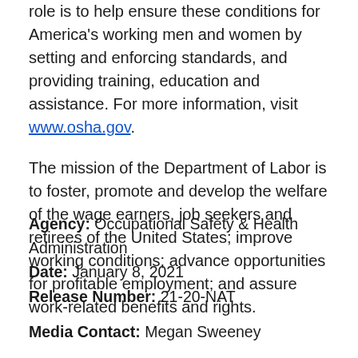role is to help ensure these conditions for America's working men and women by setting and enforcing standards, and providing training, education and assistance. For more information, visit www.osha.gov.
The mission of the Department of Labor is to foster, promote and develop the welfare of the wage earners, job seekers and retirees of the United States; improve working conditions; advance opportunities for profitable employment; and assure work-related benefits and rights.
Agency: Occupational Safety & Health Administration
Date: January 8, 2021
Release Number: 21-20-NAT
Media Contact: Megan Sweeney